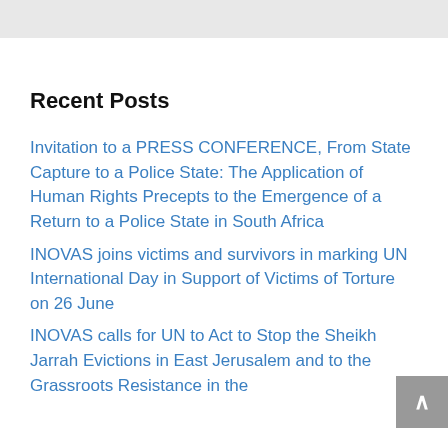Recent Posts
Invitation to a PRESS CONFERENCE, From State Capture to a Police State: The Application of Human Rights Precepts to the Emergence of a Return to a Police State in South Africa
INOVAS joins victims and survivors in marking UN International Day in Support of Victims of Torture on 26 June
INOVAS calls for UN to Act to Stop the Sheikh Jarrah Evictions in East Jerusalem and to the Grassroots Resistance in the